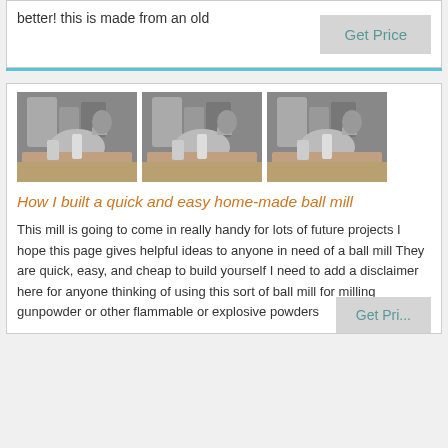better! this is made from an old
[Figure (photo): Three identical photos of industrial ball mill machinery with metal pipes and dust/powder output]
How I built a quick and easy home-made ball mill
This mill is going to come in really handy for lots of future projects I hope this page gives helpful ideas to anyone in need of a ball mill They are quick, easy, and cheap to build yourself I need to add a disclaimer here for anyone thinking of using this sort of ball mill for milling gunpowder or other flammable or explosive powders